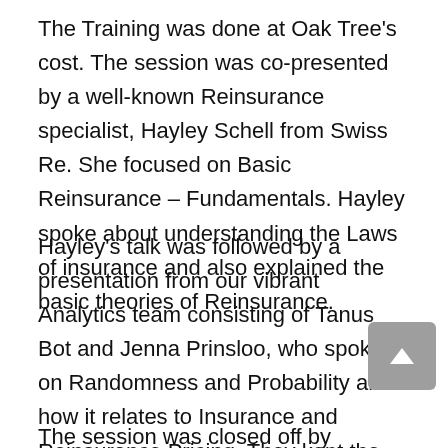The Training was done at Oak Tree's cost. The session was co-presented by a well-known Reinsurance specialist, Hayley Schell from Swiss Re. She focused on Basic Reinsurance – Fundamentals. Hayley spoke about understanding the Laws of insurance and also explained the basic theories of Reinsurance.
Hayley's talk was followed by a presentation from our vibrant Analytics team consisting of Tanus Bot and Jenna Prinsloo, who spoke on Randomness and Probability and how it relates to Insurance and Reinsurance Pricing. They kept the delegates captivated by creating a spin board game with amazing prizes!
The session was closed off by Gordon McKean, Oak